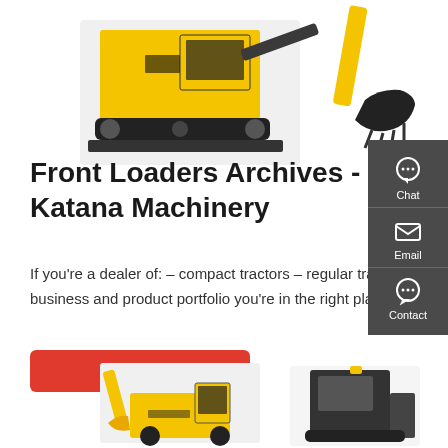[Figure (photo): Yellow tracked excavator (Caterpillar type) on left and excavator bucket/arm on right, white background, top of page]
Front Loaders Archives - Katana Machinery
If you're a dealer of: – compact tractors – regular tractors – ATVs and quads – agricultural machinery. and want to develop your business and product portfolio you're in the right place.
[Figure (infographic): Dark grey sidebar with Chat (headset icon), Email (envelope icon), and Contact (speech bubble icon) buttons]
[Figure (photo): Two construction/front loader machines at bottom of page — yellow LiuGong loader on left and dark cab machine on right]
Get a quote